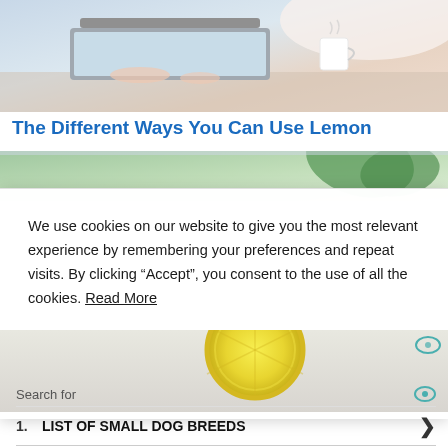[Figure (photo): Person typing on laptop with coffee mug, cropped top portion]
The Different Ways You Can Use Lemon
[Figure (photo): Green leaves background, top of article image]
We use cookies on our website to give you the most relevant experience by remembering your preferences and repeat visits. By clicking “Accept”, you consent to the use of all the cookies. Read More
Do not sell my personal information.
Cookie settings   ACCEPT and CLOSE
[Figure (photo): Lemon slice on white background, partial view]
Search for
1.  LIST OF SMALL DOG BREEDS
2.  TOP 10 DOG BREEDS FOR SENIORS
Ad | Business Focus